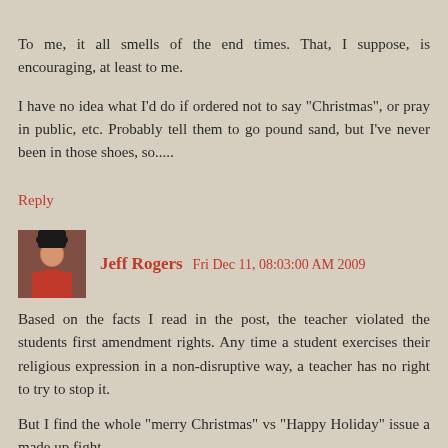To me, it all smells of the end times. That, I suppose, is encouraging, at least to me.
I have no idea what I'd do if ordered not to say "Christmas", or pray in public, etc. Probably tell them to go pound sand, but I've never been in those shoes, so.....
Reply
Jeff Rogers  Fri Dec 11, 08:03:00 AM 2009
Based on the facts I read in the post, the teacher violated the students first amendment rights. Any time a student exercises their religious expression in a non-disruptive way, a teacher has no right to try to stop it.
But I find the whole "merry Christmas" vs "Happy Holiday" issue a made up fight.
Let me explain. Merry and Happy have very similar if not synonymous meaning. The word Holiday means "Holy Day". Shouldn't the secular humanists be offended that a